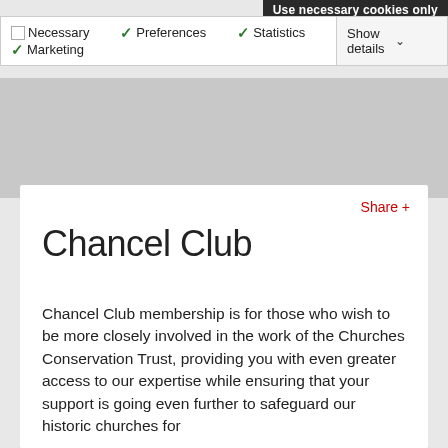Use necessary cookies only
Necessary  Preferences  Statistics  Marketing  Show details
Chancel Club
Share +
Chancel Club membership is for those who wish to be more closely involved in the work of the Churches Conservation Trust, providing you with even greater access to our expertise while ensuring that your support is going even further to safeguard our historic churches for